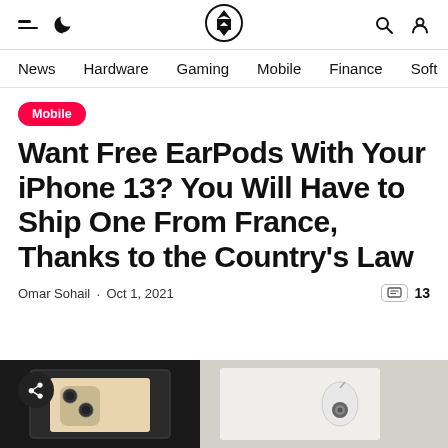Navigation header with hamburger, moon, logo, search and user icons
News
Hardware
Gaming
Mobile
Finance
Soft
Mobile
Want Free EarPods With Your iPhone 13? You Will Have to Ship One From France, Thanks to the Country's Law
Omar Sohail · Oct 1, 2021
[Figure (photo): iPhone 13 box and EarPods in packaging]